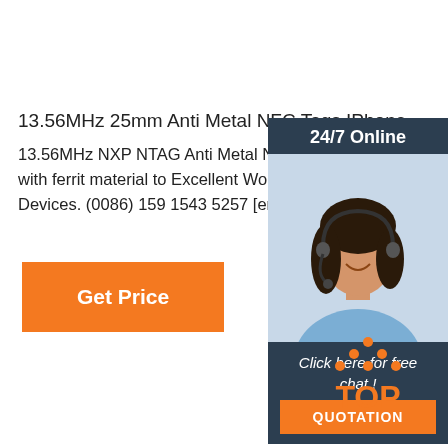13.56MHz 25mm Anti Metal NFC Tags IPhone
13.56MHz NXP NTAG Anti Metal NFC Tags iPhone with ferrit material to Excellent Works on Smartphone Devices. (0086) 159 1543 5257 [email protected] La
[Figure (other): Get Price orange button]
[Figure (other): 24/7 Online chat widget with female customer service representative photo, 'Click here for free chat!' text, and orange QUOTATION button]
[Figure (logo): TOP logo with orange dots arranged in triangle above orange TOP text]